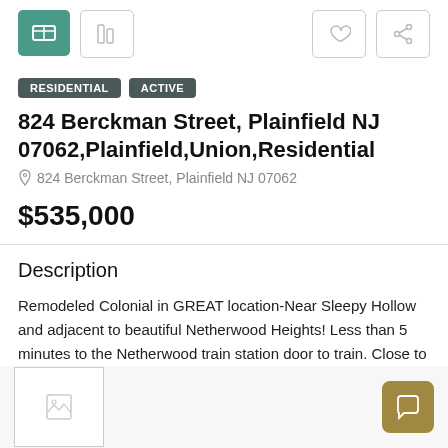[Figure (screenshot): Top navigation bar with teal icon button, gray outline icon button on left, and two gray outline icon buttons (heart, share) on right]
RESIDENTIAL ACTIVE
824 Berckman Street, Plainfield NJ 07062,Plainfield,Union,Residential
824 Berckman Street, Plainfield NJ 07062
$535,000
Description
Remodeled Colonial in GREAT location-Near Sleepy Hollow and adjacent to beautiful Netherwood Heights! Less than 5 minutes to the Netherwood train station door to train. Close to